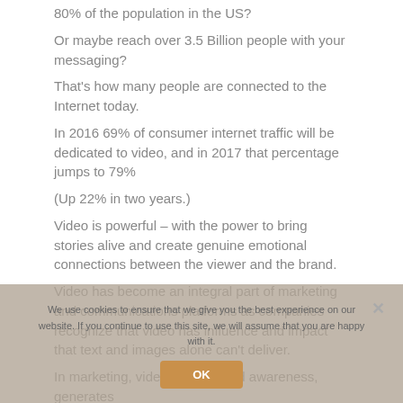How many of us would like to connect with over 3 of 80% of the population in the US? Or maybe reach over 3.5 Billion people with your messaging? That's how many people are connected to the Internet today. In 2016 69% of consumer internet traffic will be dedicated to video, and in 2017 that percentage jumps to 79% (Up 22% in two years.) Video  is powerful – with the power to bring stories alive and create genuine emotional connections between the viewer and the brand. Video has become an integral part of marketing and communications platforms as companies recognize that video has influence and impact that text and images alone can't deliver. In marketing, video builds brand awareness, generates